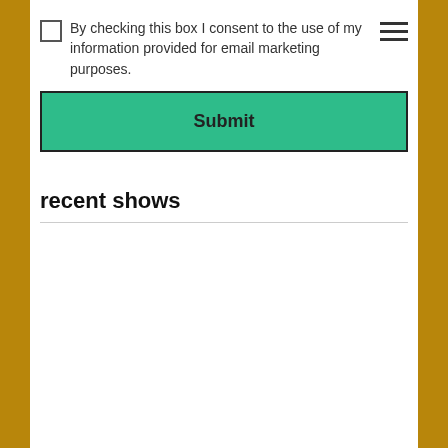By checking this box I consent to the use of my information provided for email marketing purposes.
Submit
recent shows